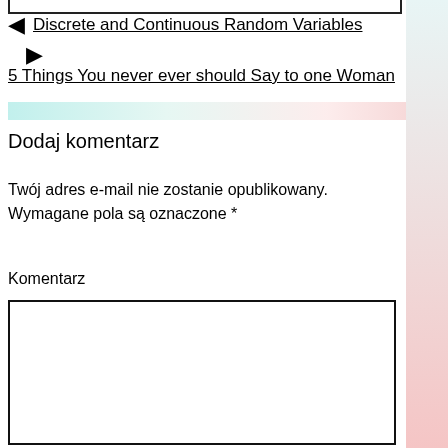Discrete and Continuous Random Variables
5 Things You never ever should Say to one Woman
Dodaj komentarz
Twój adres e-mail nie zostanie opublikowany. Wymagane pola są oznaczone *
Komentarz